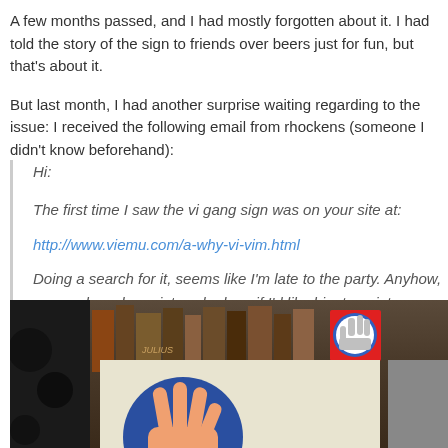A few months passed, and I had mostly forgotten about it. I had told the story of the sign to friends over beers just for fun, but that’s about it.
But last month, I had another surprise waiting regarding to the issue: I received the following email from rhockens (someone I didn’t know beforehand):
Hi:

The first time I saw the vi gang sign was on your site at:

http://www.viemu.com/a-why-vi-vim.html

Doing a search for it, seems like I’m late to the party. Anyhow, a coworker who paints asked me if I’d like him to paint something for me. I said so, since it was kind of in his style anyhow, I asked for a rendition of the vi gang sign based on the one at your site.

Thought I’d share it with you:
[Figure (photo): Photo of a painted artwork showing the vi gang sign (hand gesture) as a blue circle with hand fingers, placed on shelves with books in the background. A small sticker/badge is visible on the right side.]